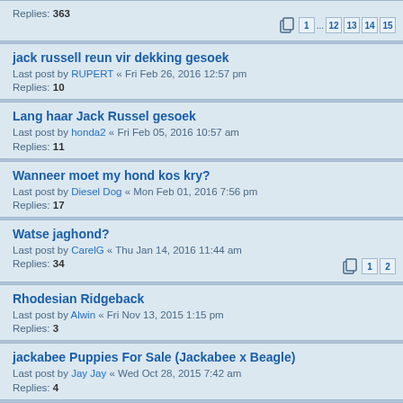Replies: 363 [pages: 1 ... 12 13 14 15]
jack russell reun vir dekking gesoek
Last post by RUPERT « Fri Feb 26, 2016 12:57 pm
Replies: 10
Lang haar Jack Russel gesoek
Last post by honda2 « Fri Feb 05, 2016 10:57 am
Replies: 11
Wanneer moet my hond kos kry?
Last post by Diesel Dog « Mon Feb 01, 2016 7:56 pm
Replies: 17
Watse jaghond?
Last post by CarelG « Thu Jan 14, 2016 11:44 am
Replies: 34 [pages: 1 2]
Rhodesian Ridgeback
Last post by Alwin « Fri Nov 13, 2015 1:15 pm
Replies: 3
jackabee Puppies For Sale (Jackabee x Beagle)
Last post by Jay Jay « Wed Oct 28, 2015 7:42 am
Replies: 4
Opsoek na Jackabee / Jack-a-Bee hondjies.
Last post by golf3 « Tue Oct 20, 2015 3:11 pm
Replies: 8
waar kan ek klaar geleerde jakkals jag honde koop?
Last post by vossie1 « Fri Oct 16, 2015 9:44 am
Replies: 5
Opsoek na plek om met hond te oefen